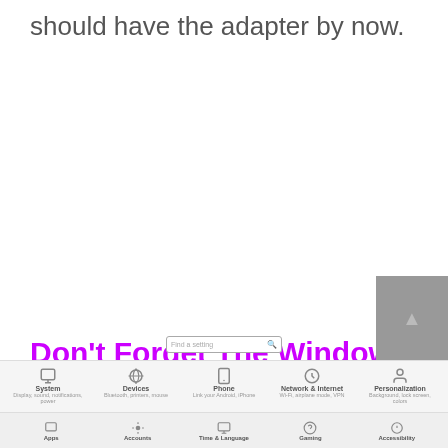should have the adapter by now.
Don't Forget The Windows Update.
Windows taskbar footer with search bar and navigation icons